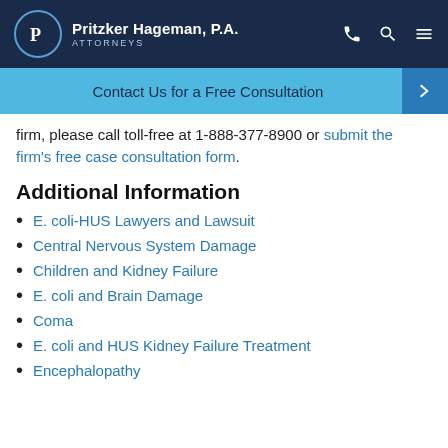Pritzker Hageman, P.A. ATTORNEYS
Contact Us for a Free Consultation →
firm, please call toll-free at 1-888-377-8900 or submit the firm's free case consultation form.
Additional Information
E. coli-HUS Lawyers and Lawsuit
Central Nervous System Damage
Children and Kidney Failure
E. coli and Brain Damage
Coma
E. coli and HUS Kidney Failure Treatment
Encephalopathy